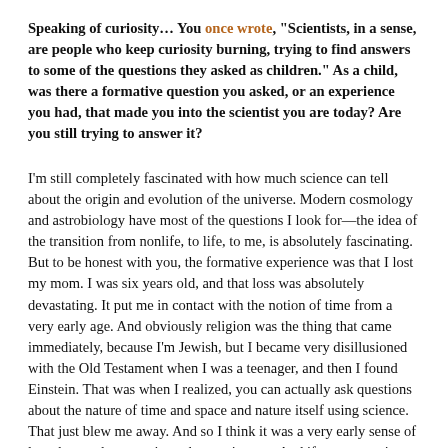Speaking of curiosity… You once wrote, "Scientists, in a sense, are people who keep curiosity burning, trying to find answers to some of the questions they asked as children." As a child, was there a formative question you asked, or an experience you had, that made you into the scientist you are today? Are you still trying to answer it?
I'm still completely fascinated with how much science can tell about the origin and evolution of the universe. Modern cosmology and astrobiology have most of the questions I look for—the idea of the transition from nonlife, to life, to me, is absolutely fascinating. But to be honest with you, the formative experience was that I lost my mom. I was six years old, and that loss was absolutely devastating. It put me in contact with the notion of time from a very early age. And obviously religion was the thing that came immediately, because I'm Jewish, but I became very disillusioned with the Old Testament when I was a teenager, and then I found Einstein. That was when I realized, you can actually ask questions about the nature of time and space and nature itself using science. That just blew me away. And so I think it was a very early sense of loss that made me curious about existence. And if you are curious about existence, physics becomes a wonderful portal, because it brings you close to the nature of the fundamental questions: space, time, origins. And I've been happy